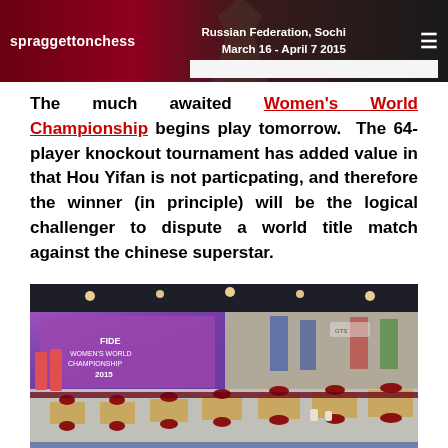spraggettonchess  Russian Federation, Sochi  March 16 - April 7 2015
The much awaited Women's World Championship begins play tomorrow. The 64-player knockout tournament has added value in that Hou Yifan is not particpating, and therefore the winner (in principle) will be the logical challenger to dispute a world title match against the chinese superstar.
[Figure (photo): Indoor venue for the Women's World Chess Championship 2015 in Sochi, showing the playing hall with chess tables set up with red chairs and a large display screen in the background.]